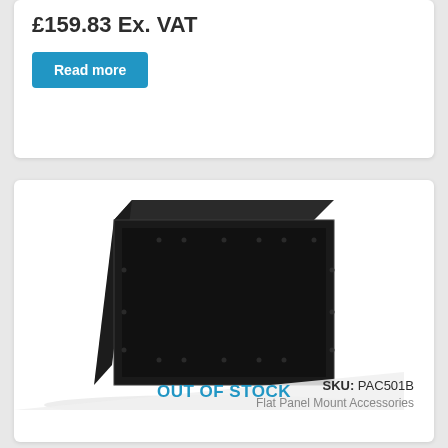£159.83 Ex. VAT
Read more
[Figure (photo): Black flat panel wall mount accessory box/enclosure, rectangular, viewed from front-left angle, showing mounting holes. OUT OF STOCK banner overlaid.]
OUT OF STOCK
SKU: PAC501B
Flat Panel Mount Accessories